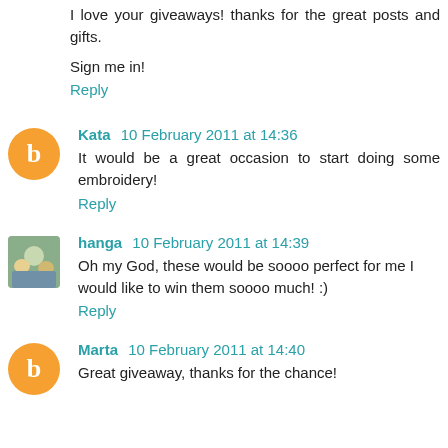I love your giveaways! thanks for the great posts and gifts.

Sign me in!
Reply
Kata 10 February 2011 at 14:36
It would be a great occasion to start doing some embroidery!
Reply
hanga 10 February 2011 at 14:39
Oh my God, these would be soooo perfect for me I would like to win them soooo much! :)
Reply
Marta 10 February 2011 at 14:40
Great giveaway, thanks for the chance!